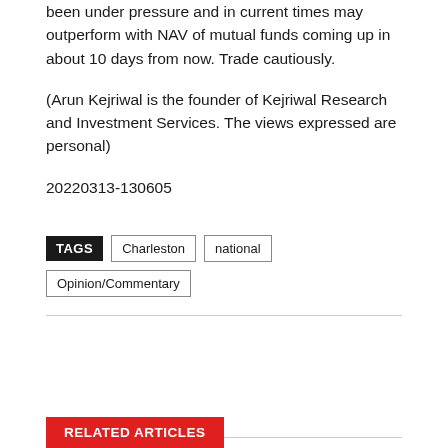been under pressure and in current times may outperform with NAV of mutual funds coming up in about 10 days from now. Trade cautiously.
(Arun Kejriwal is the founder of Kejriwal Research and Investment Services. The views expressed are personal)
20220313-130605
TAGS  Charleston  national  Opinion/Commentary
RELATED ARTICLES